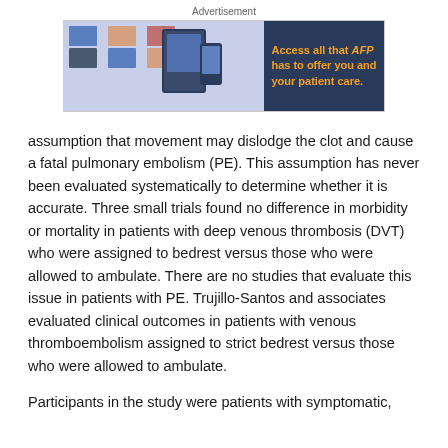Advertisement
[Figure (other): AFP advertisement banner: 'Access all that AFP has to offer you and your patient care.' with images of medical content on tablet and phone devices.]
assumption that movement may dislodge the clot and cause a fatal pulmonary embolism (PE). This assumption has never been evaluated systematically to determine whether it is accurate. Three small trials found no difference in morbidity or mortality in patients with deep venous thrombosis (DVT) who were assigned to bedrest versus those who were allowed to ambulate. There are no studies that evaluate this issue in patients with PE. Trujillo-Santos and associates evaluated clinical outcomes in patients with venous thromboembolism assigned to strict bedrest versus those who were allowed to ambulate.
Participants in the study were patients with symptomatic, acute DVT or PE confirmed by objective testing. The study